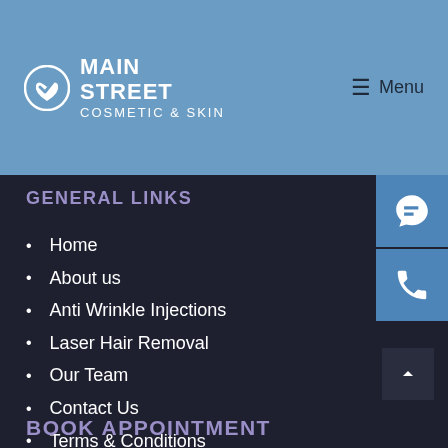Main Street Cosmetic & Skin — Menu
GENERAL LINKS
Home
About us
Anti Wrinkle Injections
Laser Hair Removal
Our Team
Contact Us
Terms & Conditions
BOOK APPOINTMENT